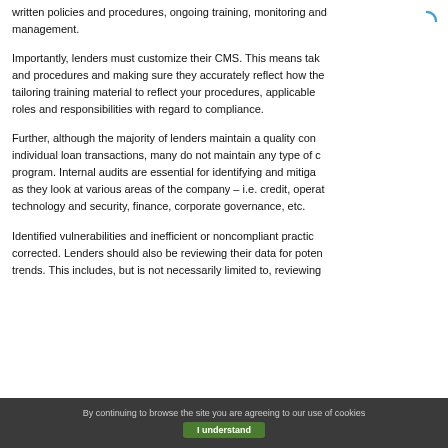written policies and procedures, ongoing training, monitoring and management.
Importantly, lenders must customize their CMS. This means taking your policies and procedures and making sure they accurately reflect how the company operates, tailoring training material to reflect your procedures, applicable laws and regulations, and roles and responsibilities with regard to compliance.
Further, although the majority of lenders maintain a quality control process for individual loan transactions, many do not maintain any type of compliance audit program. Internal audits are essential for identifying and mitigating compliance risk as they look at various areas of the company – i.e. credit, operational, technology and security, finance, corporate governance, etc.
Identified vulnerabilities and inefficient or noncompliant practices need to be corrected. Lenders should also be reviewing their data for potential patterns or trends. This includes, but is not necessarily limited to, reviewing...
By continuing to browse the site you are agreeing to our use of cookies